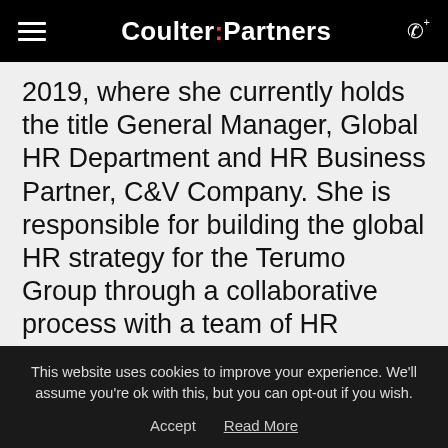Coulter:Partners
2019, where she currently holds the title General Manager, Global HR Department and HR Business Partner, C&V Company. She is responsible for building the global HR strategy for the Terumo Group through a collaborative process with a team of HR leaders of the Terumo Group entities, as well as managing the global HR initiatives as the Head of PMO.
This website uses cookies to improve your experience. We'll assume you're ok with this, but you can opt-out if you wish.
Accept   Read More